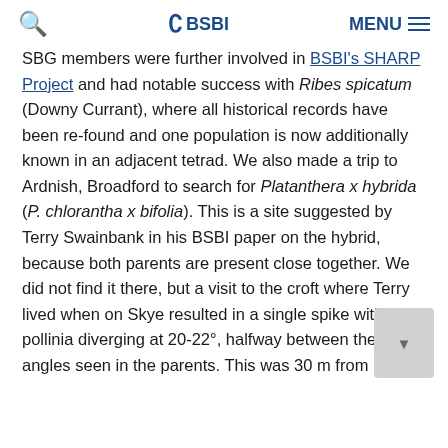🔍  BSBI  MENU ≡
SBG members were further involved in BSBI's SHARP Project and had notable success with Ribes spicatum (Downy Currant), where all historical records have been re-found and one population is now additionally known in an adjacent tetrad. We also made a trip to Ardnish, Broadford to search for Platanthera x hybrida (P. chlorantha x bifolia). This is a site suggested by Terry Swainbank in his BSBI paper on the hybrid, because both parents are present close together. We did not find it there, but a visit to the croft where Terry lived when on Skye resulted in a single spike with the pollinia diverging at 20-22°, halfway between the angles seen in the parents. This was 30 m from